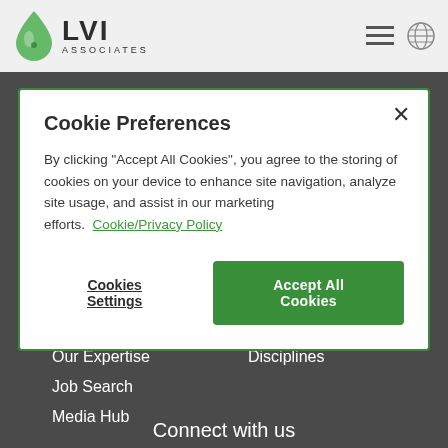LVI Associates
Cookie Preferences
By clicking "Accept All Cookies", you agree to the storing of cookies on your device to enhance site navigation, analyze site usage, and assist in our marketing efforts.  Cookie/Privacy Policy
Cookies Settings | Accept All Cookies
Who We Are
Our Expertise
Job Search
Media Hub
Work For Us
Disciplines
Connect with us